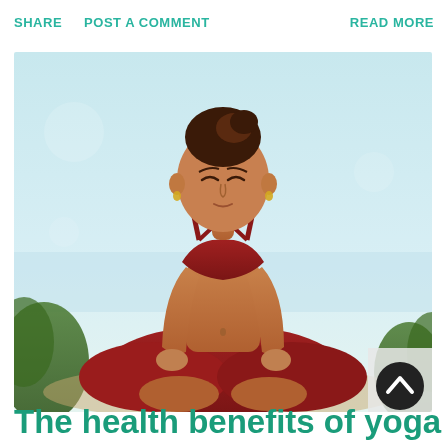SHARE   POST A COMMENT   READ MORE
[Figure (photo): Woman in red sports outfit sitting in lotus yoga meditation pose outdoors against a light blue sky background]
The health benefits of yoga